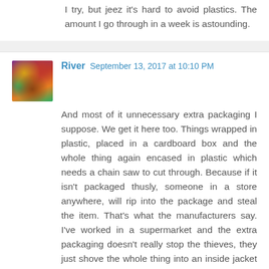I try, but jeez it's hard to avoid plastics. The amount I go through in a week is astounding.
River  September 13, 2017 at 10:10 PM
And most of it unnecessary extra packaging I suppose. We get it here too. Things wrapped in plastic, placed in a cardboard box and the whole thing again encased in plastic which needs a chain saw to cut through. Because if it isn't packaged thusly, someone in a store anywhere, will rip into the package and steal the item. That's what the manufacturers say. I've worked in a supermarket and the extra packaging doesn't really stop the thieves, they just shove the whole thing into an inside jacket pocket.
Reply
Anonymous  September 13, 2017 at 3:50 AM